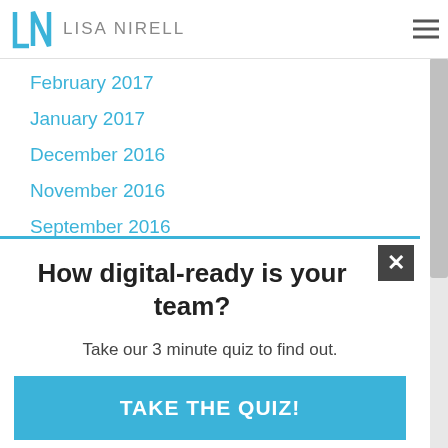LISA NIRELL
February 2017
January 2017
December 2016
November 2016
September 2016
August 2016
How digital-ready is your team?
Take our 3 minute quiz to find out.
TAKE THE QUIZ!